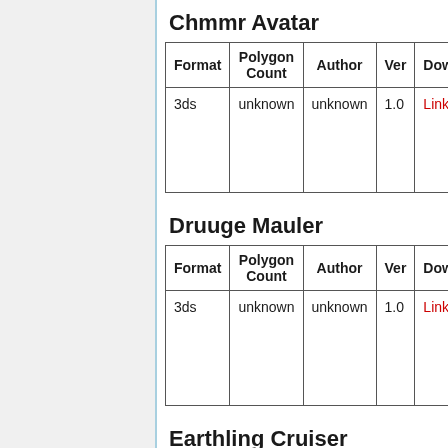Chmmr Avatar
| Format | Polygon Count | Author | Ver | Download |
| --- | --- | --- | --- | --- |
| 3ds | unknown | unknown | 1.0 | Link |
Druuge Mauler
| Format | Polygon Count | Author | Ver | Download |
| --- | --- | --- | --- | --- |
| 3ds | unknown | unknown | 1.0 | Link |
Earthling Cruiser
| Format | Polygon Count | Author | Ver | Download |
| --- | --- | --- | --- | --- |